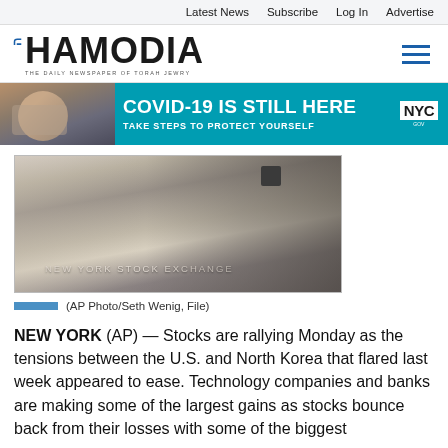Latest News   Subscribe   Log In   Advertise
[Figure (logo): Hamodia newspaper logo with Hebrew letter and tagline 'The Daily Newspaper of Torah Jewry']
[Figure (photo): COVID-19 public service announcement banner: person wearing mask on phone, text 'COVID-19 IS STILL HERE / TAKE STEPS TO PROTECT YOURSELF' with NYC logo]
[Figure (photo): Photo of the New York Stock Exchange building exterior with columns and signage]
(AP Photo/Seth Wenig, File)
NEW YORK (AP) — Stocks are rallying Monday as the tensions between the U.S. and North Korea that flared last week appeared to ease. Technology companies and banks are making some of the largest gains as stocks bounce back from their losses with some of the biggest